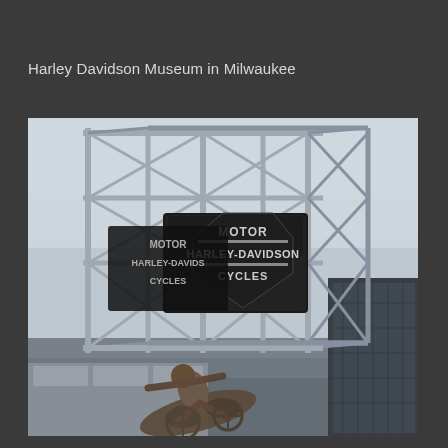Harley Davidson Museum in Milwaukee
[Figure (photo): Photograph of the Harley Davidson Museum in Milwaukee, showing a large metal geometric cube/cage structure with the Harley-Davidson Motor Cycles shield logo sign mounted inside it, and a bronze motorcycle rider sculpture partially visible at the bottom. A modern building is visible to the right.]